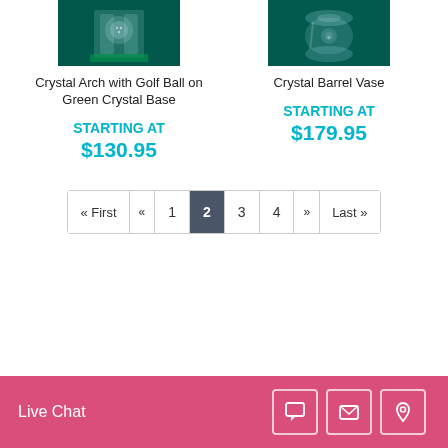[Figure (photo): Crystal Arch with Golf Ball on Green Crystal Base product photo on dark teal background]
Crystal Arch with Golf Ball on Green Crystal Base
STARTING AT
$130.95
[Figure (photo): Crystal Barrel Vase product photo on dark teal background]
Crystal Barrel Vase
STARTING AT
$179.95
« First
«
1
2
3
4
»
Last »
Live Chat